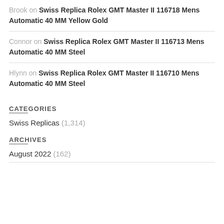Brook on Swiss Replica Rolex GMT Master II 116718 Mens Automatic 40 MM Yellow Gold
Connor on Swiss Replica Rolex GMT Master II 116713 Mens Automatic 40 MM Steel
Hlynn on Swiss Replica Rolex GMT Master II 116710 Mens Automatic 40 MM Steel
CATEGORIES
Swiss Replicas (1,314)
ARCHIVES
August 2022 (162)